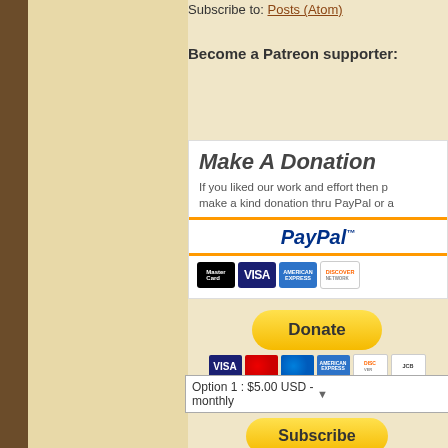Subscribe to: Posts (Atom)
Become a Patreon supporter:
[Figure (other): Red Patreon button with 'Become a patron' text and Patreon logo]
Make A Donation
If you liked our work and effort then please make a kind donation thru PayPal or a
[Figure (other): PayPal donation widget showing PayPal logo and credit card logos (MasterCard, VISA, American Express, Discover)]
[Figure (other): PayPal Donate button (yellow) with payment card icons below (VISA, MasterCard x2, AMEX, Discover, JCB)]
[Figure (other): Subscription area: dropdown showing 'Option 1 : $5.00 USD - monthly', Subscribe button (yellow), and payment card icons]